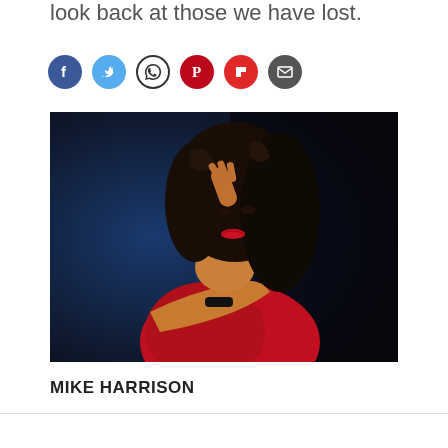look back at those we have lost.
[Figure (infographic): Row of six social sharing icon circles: Facebook (blue), Twitter (light blue), WhatsApp (white/black), Pinterest (red), Flipboard (red), Email (grey)]
[Figure (photo): A woman with curly dark hair and red lips wearing a red top, posed dramatically against a dark blue background, with one hand raised near her head and the other arm crossed in front of her.]
MIKE HARRISON